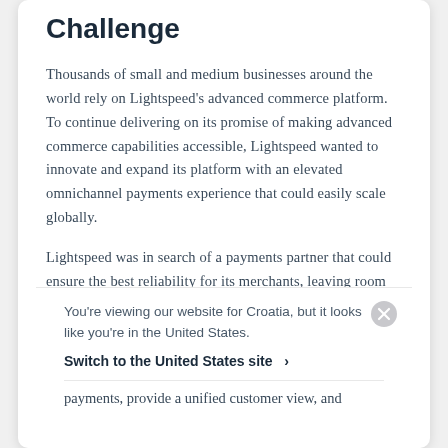Challenge
Thousands of small and medium businesses around the world rely on Lightspeed’s advanced commerce platform. To continue delivering on its promise of making advanced commerce capabilities accessible, Lightspeed wanted to innovate and expand its platform with an elevated omnichannel payments experience that could easily scale globally.
Lightspeed was in search of a payments partner that could ensure the best reliability for its merchants, leaving room for innovation and scalability and enabling Lightspeed to continue to deliver a seamless
You’re viewing our website for Croatia, but it looks like you’re in the United States.
Switch to the United States site ›
payments, provide a unified customer view, and